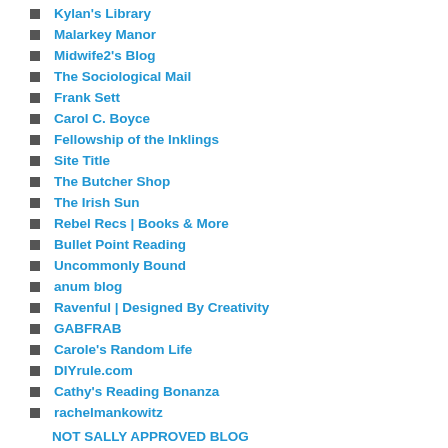Kylan's Library
Malarkey Manor
Midwife2's Blog
The Sociological Mail
Frank Sett
Carol C. Boyce
Fellowship of the Inklings
Site Title
The Butcher Shop
The Irish Sun
Rebel Recs | Books & More
Bullet Point Reading
Uncommonly Bound
anum blog
Ravenful | Designed By Creativity
GABFRAB
Carole's Random Life
DIYrule.com
Cathy's Reading Bonanza
rachelmankowitz
NOT SALLY APPROVED BLOG